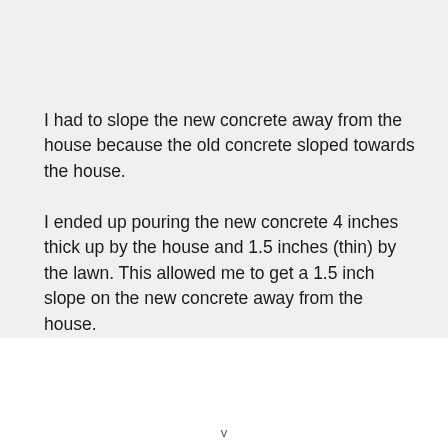I had to slope the new concrete away from the house because the old concrete sloped towards the house.
I ended up pouring the new concrete 4 inches thick up by the house and 1.5 inches (thin) by the lawn. This allowed me to get a 1.5 inch slope on the new concrete away from the house.
Pouring over the old concrete instead of having to